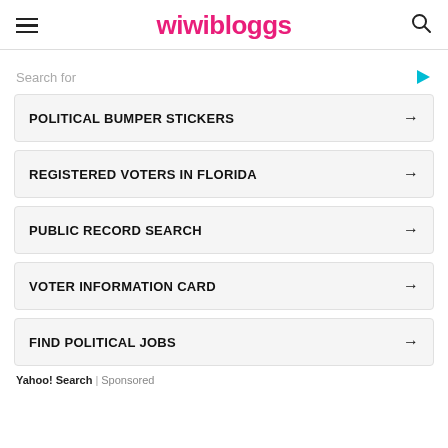wiwibloggs
Search for
POLITICAL BUMPER STICKERS
REGISTERED VOTERS IN FLORIDA
PUBLIC RECORD SEARCH
VOTER INFORMATION CARD
FIND POLITICAL JOBS
Yahoo! Search | Sponsored